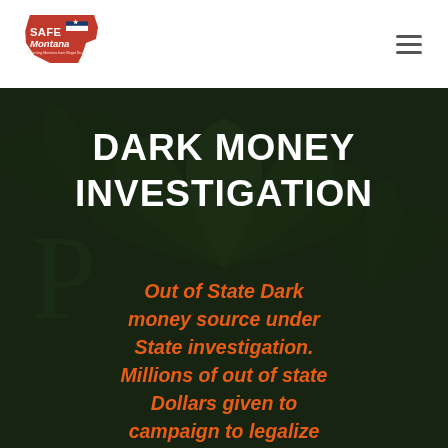[Figure (logo): SAFE Montana logo — red stylized Montana state outline with American flag and text 'Protecting Montana from Illegal Drugs']
DARK MONEY INVESTIGATION
[Figure (photo): Dark background photo showing cannabis/marijuana leaves with dramatic low-key lighting]
Out of State Dark money source under State investigation. Millions of out of state Dollars given to campaign to legalize